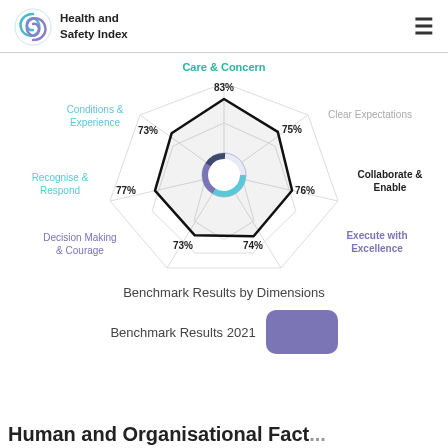Health and Safety Index
[Figure (radar-chart): Benchmark Results by Dimensions]
Benchmark Results by Dimensions
Benchmark Results 2021
Human and Organisational Fact...